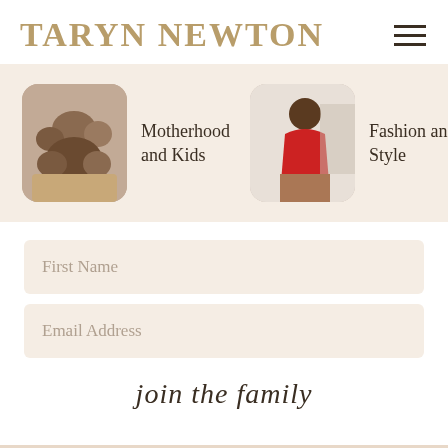TARYN NEWTON
[Figure (screenshot): Website screenshot showing Taryn Newton blog homepage with navigation, category cards for Motherhood and Kids and Fashion and Style, a signup form with First Name and Email Address fields, and a 'join the family' button]
Motherhood and Kids
Fashion and Style
First Name
Email Address
join the family